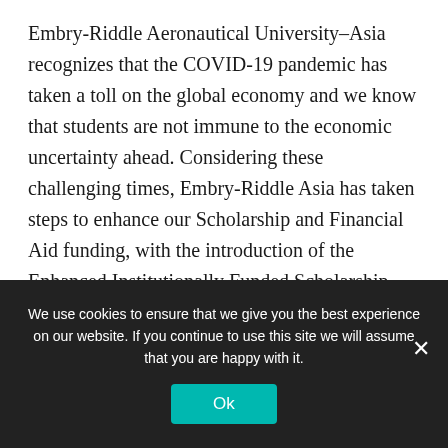Embry-Riddle Aeronautical University–Asia recognizes that the COVID-19 pandemic has taken a toll on the global economy and we know that students are not immune to the economic uncertainty ahead. Considering these challenging times, Embry-Riddle Asia has taken steps to enhance our Scholarship and Financial Aid funding, with the introduction of the Enhanced Institutionally Funded Scholarship Program that is available to new students who are enrolling in the Fall terms in 2020. This can
We use cookies to ensure that we give you the best experience on our website. If you continue to use this site we will assume that you are happy with it.